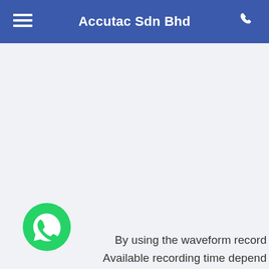Accutac Sdn Bhd
By using the waveform record Available recording time depend t
[Figure (logo): WhatsApp green circular chat button icon]